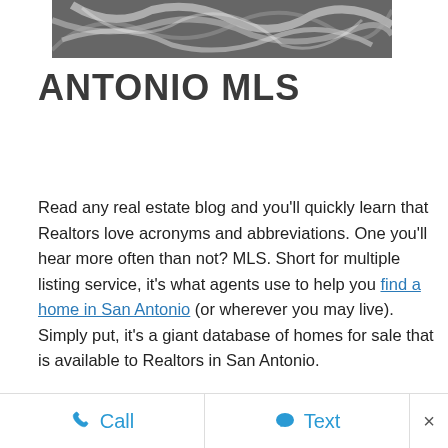[Figure (photo): Top portion of a photo showing white cables/cords against a dark background]
ANTONIO MLS
Read any real estate blog and you'll quickly learn that Realtors love acronyms and abbreviations. One you'll hear more often than not? MLS. Short for multiple listing service, it's what agents use to help you find a home in San Antonio (or wherever you may live). Simply put, it's a giant database of homes for sale that is available to Realtors in San Antonio.
MLS (or Multiple Listing Service) is a giant list of San Antonio homes for sale at any given moment. While it is one of the most complete databases of San Antonio properties on the market, it is by no means a list of every
Call  Text  ×